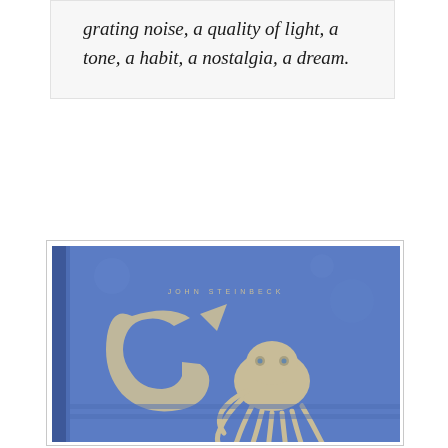grating noise, a quality of light, a tone, a habit, a nostalgia, a dream.
[Figure (photo): Blue hardcover book with silver octopus illustration and decorative letter, authored by John Steinbeck]